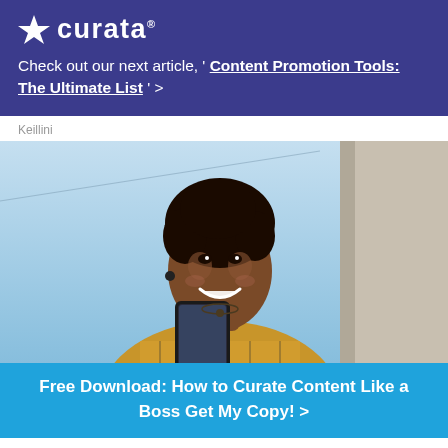curata
Check out our next article, ' Content Promotion Tools: The Ultimate List ' >
Keillini
[Figure (photo): A smiling woman with natural hair looking at her smartphone outdoors, wearing a plaid shirt and earbuds. Blue sky background.]
Free Download: How to Curate Content Like a Boss Get My Copy! >